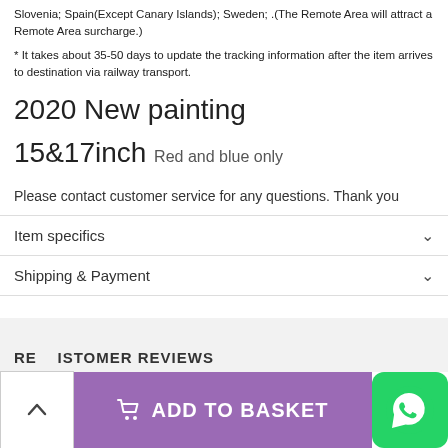Slovenia; Spain(Except Canary Islands); Sweden; .(The Remote Area will attract a Remote Area surcharge.)
* It takes about 35-50 days to update the tracking information after the item arrives to destination via railway transport.
2020 New painting
15&17inch  Red and blue only
Please contact customer service for any questions. Thank you
Item specifics
Shipping & Payment
RE  ISTOMER REVIEWS
ADD TO BASKET